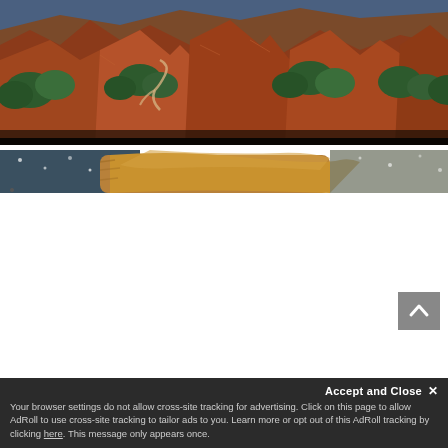[Figure (photo): Aerial view of red rock canyon landscape with green trees and winding paths carved into orange-red stone formations]
[Figure (photo): Close-up of a golden/brown furry dog in motion near water with blurred background]
Accept and Close ✕
Your browser settings do not allow cross-site tracking for advertising. Click on this page to allow AdRoll to use cross-site tracking to tailor ads to you. Learn more or opt out of this AdRoll tracking by clicking here. This message only appears once.